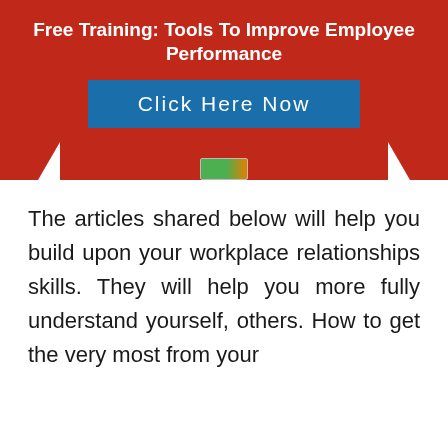Free Training: Tools To Improve Employee Performance
[Figure (screenshot): Blue 'Click Here Now' button on red banner background]
[Figure (logo): Small logo image below the button]
The articles shared below will help you build upon your workplace relationships skills. They will help you more fully understand yourself, others. How to get the very most from your